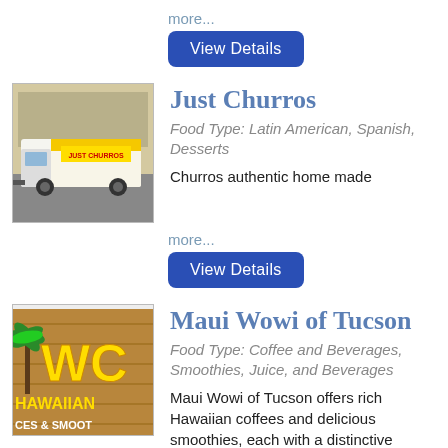more...
View Details
[Figure (photo): Food truck labeled 'Just Churros' parked outside a building]
Just Churros
Food Type: Latin American, Spanish, Desserts
Churros authentic home made
more...
View Details
[Figure (photo): Maui Wowi Hawaiian logo sign with palm tree, text: HAWAIIAN, CES & SMOOT]
Maui Wowi of Tucson
Food Type: Coffee and Beverages, Smoothies, Juice, and Beverages
Maui Wowi of Tucson offers rich Hawaiian coffees and delicious smoothies, each with a distinctive Island flavor and character.